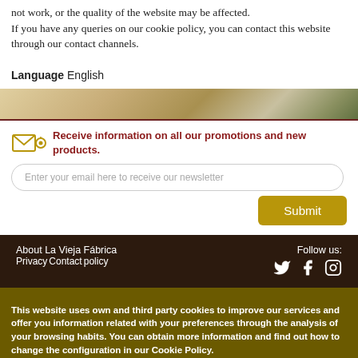not work, or the quality of the website may be affected. If you have any queries on our cookie policy, you can contact this website through our contact channels.
Language English
Receive information on all our promotions and new products.
Enter your email here to receive our newsletter
Submit
About La Vieja Fábrica
Privacy policy
Contact
Follow us:
(Twitter) (Facebook) (Instagram)
This website uses own and third party cookies to improve our services and offer you information related with your preferences through the analysis of your browsing habits. You can obtain more information and find out how to change the configuration in our Cookie Policy.